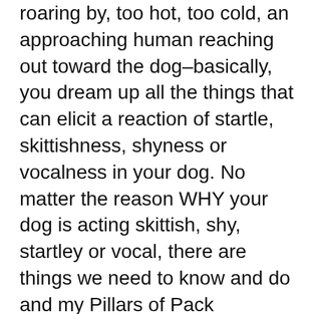roaring by, too hot, too cold, an approaching human reaching out toward the dog–basically, you dream up all the things that can elicit a reaction of startle, skittishness, shyness or vocalness in your dog. No matter the reason WHY your dog is acting skittish, shy, startley or vocal, there are things we need to know and do and my Pillars of Pack Leadership foundation helps to build confident dogs.
STRUCTURE– the MOST important thing for nervous and anxious dogs. When a dog knows the routine, it helps to lower anxiety. It lets them know